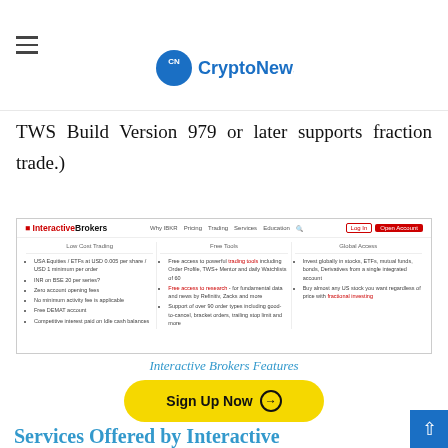CryptoNewsZ
who are high volume traders who want a portion of the comprehensive portfolio, making it easy to invest rather than the full priced share. (Note TWS Build Version 979 or later supports fraction trade.)
[Figure (screenshot): Screenshot of Interactive Brokers website showing features: Low Cost Trading, Free Tools, Global Access with navigation and Open Account button]
Interactive Brokers Features
Sign Up Now
Services Offered by Interactive